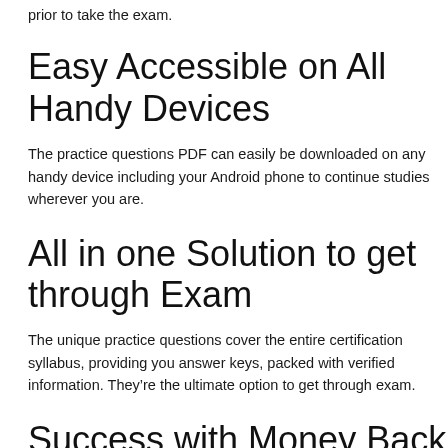prior to take the exam.
Easy Accessible on All Handy Devices
The practice questions PDF can easily be downloaded on any handy device including your Android phone to continue studies wherever you are.
All in one Solution to get through Exam
The unique practice questions cover the entire certification syllabus, providing you answer keys, packed with verified information. They’re the ultimate option to get through exam.
Success with Money Back Guarantee